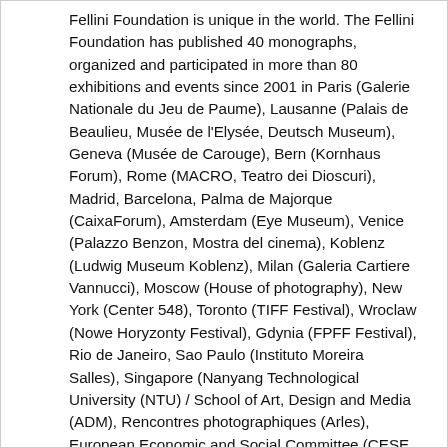Fellini Foundation is unique in the world. The Fellini Foundation has published 40 monographs, organized and participated in more than 80 exhibitions and events since 2001 in Paris (Galerie Nationale du Jeu de Paume), Lausanne (Palais de Beaulieu, Musée de l'Elysée, Deutsch Museum), Geneva (Musée de Carouge), Bern (Kornhaus Forum), Rome (MACRO, Teatro dei Dioscuri), Madrid, Barcelona, Palma de Majorque (CaixaForum), Amsterdam (Eye Museum), Venice (Palazzo Benzon, Mostra del cinema), Koblenz (Ludwig Museum Koblenz), Milan (Galeria Cartiere Vannucci), Moscow (House of photography), New York (Center 548), Toronto (TIFF Festival), Wroclaw (Nowe Horyzonty Festival), Gdynia (FPFF Festival), Rio de Janeiro, Sao Paulo (Instituto Moreira Salles), Singapore (Nanyang Technological University (NTU) / School of Art, Design and Media (ADM), Rencontres photographiques (Arles), European Economic and Social Committee (CESE, Bruxelles). The Fellini Foundation leads some cultural and academic programs (L'Atelier du regard, lessons of cinema and master classes in the Lyceum des Creusets and its Cultural Space (La Maison du diable, Sion, Switzerland). As part of its activities, the Fellini Foundation directed and produced